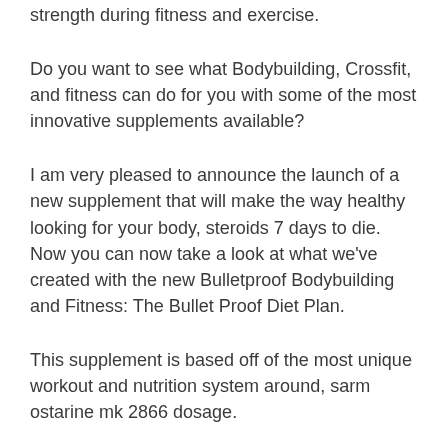strength during fitness and exercise.
Do you want to see what Bodybuilding, Crossfit, and fitness can do for you with some of the most innovative supplements available?
I am very pleased to announce the launch of a new supplement that will make the way healthy looking for your body, steroids 7 days to die. Now you can now take a look at what we've created with the new Bulletproof Bodybuilding and Fitness: The Bullet Proof Diet Plan.
This supplement is based off of the most unique workout and nutrition system around, sarm ostarine mk 2866 dosage.
What is a Bulletproof Diet Plan?
Let's take a look at what the Bulletproof Diet